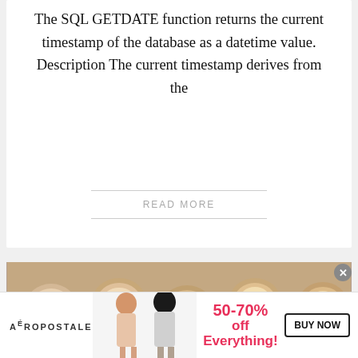The SQL GETDATE function returns the current timestamp of the database as a datetime value. Description The current timestamp derives from the
READ MORE
[Figure (photo): Close-up photo of wooden bingo tokens/barrels with red numbers, including visible numbers 67, 63, 75, and others scattered together]
[Figure (photo): Aeropostale advertisement banner showing two female models, text '50-70% off Everything!' in pink and a 'BUY NOW' button]